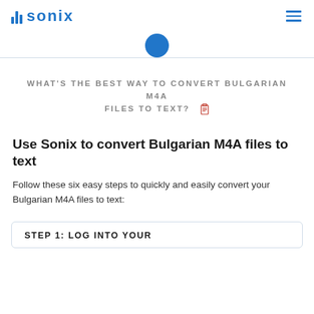sonix
[Figure (logo): Sonix logo with blue sound bars and text 'sonix', plus hamburger menu icon on the right]
[Figure (illustration): Partial blue circle visible at top center, with a horizontal dividing line]
WHAT'S THE BEST WAY TO CONVERT BULGARIAN M4A FILES TO TEXT?
Use Sonix to convert Bulgarian M4A files to text
Follow these six easy steps to quickly and easily convert your Bulgarian M4A files to text:
STEP 1: LOG INTO YOUR